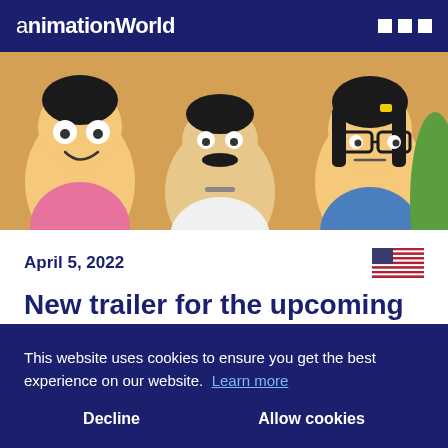animationWorld
[Figure (illustration): Bob's Burgers animated characters including Gene, Bob, and Tina, with burgers visible, colorful cartoon style]
April 5, 2022
New trailer for the upcoming The Bob's Burgers Movie
This website uses cookies to ensure you get the best experience on our website. Learn more
Decline   Allow cookies